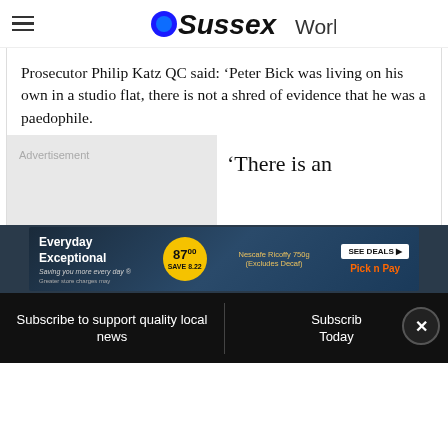OSussexWorld
Prosecutor Philip Katz QC said: ‘Peter Bick was living on his own in a studio flat, there is not a shred of evidence that he was a paedophile.
[Figure (other): Advertisement placeholder box with 'Advertisement' label in grey]
‘There is an
[Figure (other): Pick n Pay advertisement banner: Everyday Exceptional, 87.00 Save 8.22, Nescafe Ricoffy 750g (Excludes Decaf), SEE DEALS button]
Subscribe to support quality local news
Subscribe Today